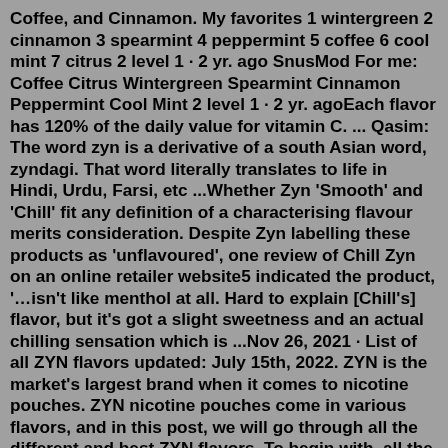Coffee, and Cinnamon. My favorites 1 wintergreen 2 cinnamon 3 spearmint 4 peppermint 5 coffee 6 cool mint 7 citrus 2 level 1 · 2 yr. ago SnusMod For me: Coffee Citrus Wintergreen Spearmint Cinnamon Peppermint Cool Mint 2 level 1 · 2 yr. agoEach flavor has 120% of the daily value for vitamin C. ... Qasim: The word zyn is a derivative of a south Asian word, zyndagi. That word literally translates to life in Hindi, Urdu, Farsi, etc ...Whether Zyn 'Smooth' and 'Chill' fit any definition of a characterising flavour merits consideration. Despite Zyn labelling these products as 'unflavoured', one review of Chill Zyn on an online retailer website5 indicated the product, '…isn't like menthol at all. Hard to explain [Chill's] flavor, but it's got a slight sweetness and an actual chilling sensation which is ...Nov 26, 2021 · List of all ZYN flavors updated: July 15th, 2022. ZYN is the market's largest brand when it comes to nicotine pouches. ZYN nicotine pouches come in various flavors, and in this post, we will go through all the different and best ZYN flavors. To begin with, all the ZYN fla...